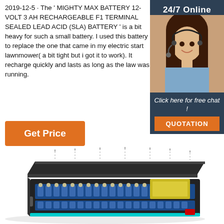2019-12-5 · The ' MIGHTY MAX BATTERY 12-VOLT 3 AH RECHARGEABLE F1 TERMINAL SEALED LEAD ACID (SLA) BATTERY ' is a bit heavy for such a small battery. I used this battery to replace the one that came in my electric start lawnmower( a bit tight but i got it to work). It recharge quickly and lasts as long as the law was running.
[Figure (photo): 24/7 Online chat support — woman with headset smiling, sidebar with dark blue background, 'Click here for free chat!' text and orange QUOTATION button]
[Figure (illustration): 3D exploded view illustration of a large flat battery pack showing internal blue cylindrical cells arranged in rows, with a dark outer casing lid being lifted off]